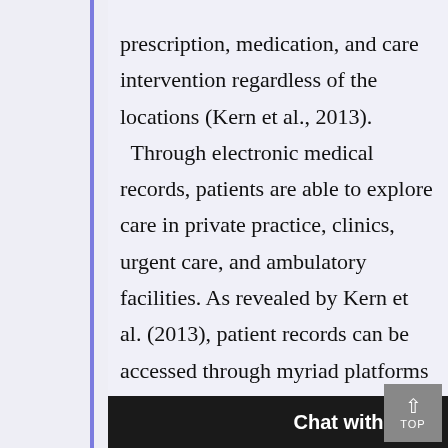prescription, medication, and care intervention regardless of the locations (Kern et al., 2013). Through electronic medical records, patients are able to explore care in private practice, clinics, urgent care, and ambulatory facilities. As revealed by Kern et al. (2013), patient records can be accessed through myriad platforms and numerous tools like tablets, laptops, and smartphones.